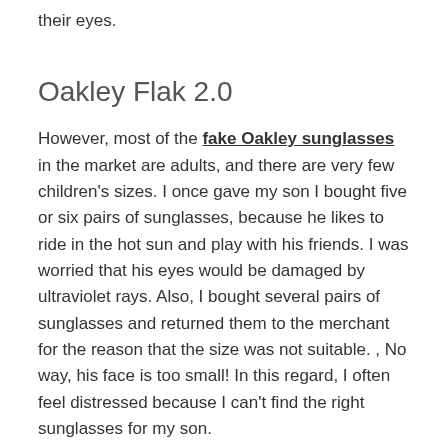their eyes.
Oakley Flak 2.0
However, most of the fake Oakley sunglasses in the market are adults, and there are very few children's sizes. I once gave my son I bought five or six pairs of sunglasses, because he likes to ride in the hot sun and play with his friends. I was worried that his eyes would be damaged by ultraviolet rays. Also, I bought several pairs of sunglasses and returned them to the merchant for the reason that the size was not suitable. , No way, his face is too small! In this regard, I often feel distressed because I can't find the right sunglasses for my son.
One day, I found a good thing while shopping online – The Flak 2.0! Flak 2.0 is Oakley's best-selling framework, and it's easy to see why. These are versatile sports